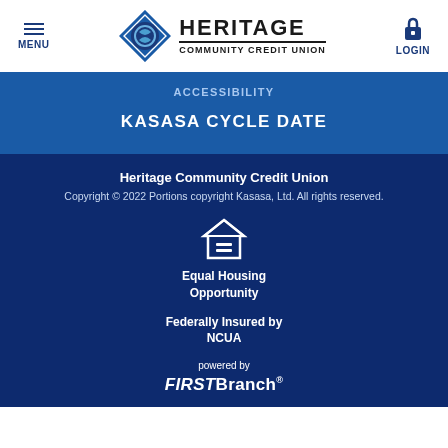[Figure (logo): Heritage Community Credit Union logo with diamond/circular icon and text]
ACCESSIBILITY
KASASA CYCLE DATE
Heritage Community Credit Union
Copyright © 2022 Portions copyright Kasasa, Ltd. All rights reserved.
[Figure (illustration): Equal Housing Opportunity house icon with equals sign]
Equal Housing Opportunity
Federally Insured by NCUA
powered by FIRSTBranch®